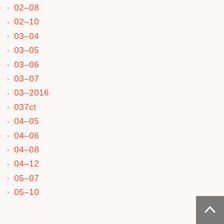02-08
02-10
03-04
03-05
03-06
03-07
03-2016
037ct
04-05
04-06
04-08
04-12
05-07
05-10